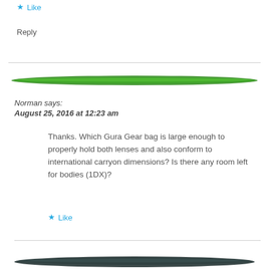★ Like
Reply
[Figure (illustration): Green lens or decorative oval element (avatar/divider graphic) — green elongated lens shape]
Norman says:
August 25, 2016 at 12:23 am
Thanks. Which Gura Gear bag is large enough to properly hold both lenses and also conform to international carryon dimensions? Is there any room left for bodies (1DX)?
★ Like
[Figure (illustration): Dark lens or decorative oval element — dark elongated lens shape at bottom]